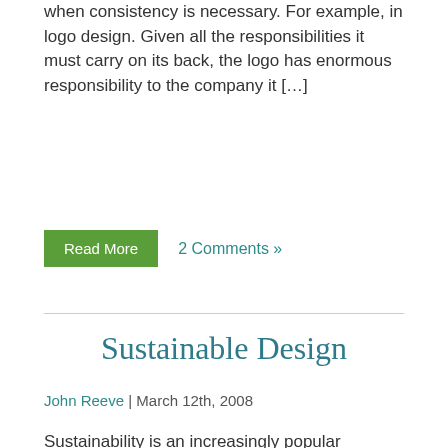when consistency is necessary. For example, in logo design. Given all the responsibilities it must carry on its back, the logo has enormous responsibility to the company it […]
Read More
2 Comments »
Sustainable Design
John Reeve | March 12th, 2008
Sustainability is an increasingly popular buzzword being thrown about the Internet, but what does it mean? And more specifically, what does it mean for designers? At Pelago, it means a few things: Printing our collateral on recycled papers using enviro-friendly inks Using the laser